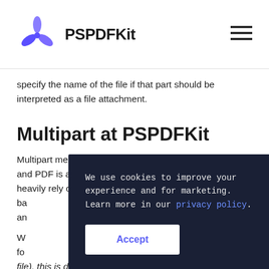PSPDFKit
specify the name of the file if that part should be interpreted as a file attachment.
Multipart at PSPDFKit
Multipart messages are useful when transmitting files, and PDF is a file format, so it's no surprise that we heavily rely on multipart messages in our HTTP-based API. We use them for document conversion and annotation processing.
When sending a document to our API (e.g. for conversion, for signature validation, or for rendering a file), this is done by sending a file, or by sending that file as a part of the multipart request. The letter
We use cookies to improve your experience and for marketing. Learn more in our privacy policy.
Accept